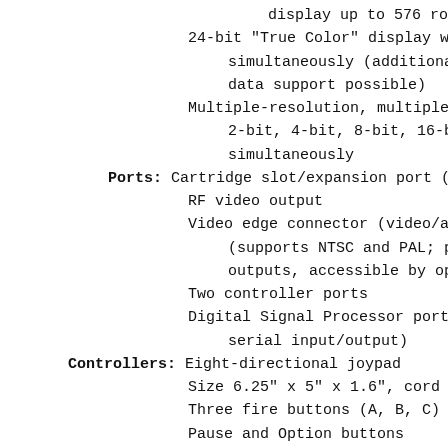display up to 576 rows of pixels
24-bit "True Color" display with 1 simultaneously (additional 8 bit data support possible)
Multiple-resolution, multiple-color 2-bit, 4-bit, 8-bit, 16-bit, 24- simultaneously
Ports: Cartridge slot/expansion port (32
RF video output
Video edge connector (video/audio (supports NTSC and PAL; provides outputs, accessible by optional
Two controller ports
Digital Signal Processor port (inc serial input/output)
Controllers: Eight-directional joypad
Size 6.25" x 5" x 1.6", cord 7 fee
Three fire buttons (A, B, C)
Pause and Option buttons
12-key keypad (accepts game-specif